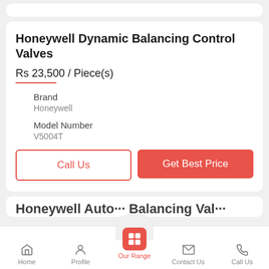Honeywell Dynamic Balancing Control Valves
Rs 23,500 / Piece(s)
| Field | Value |
| --- | --- |
| Brand | Honeywell |
| Model Number | V5004T |
Call Us
Get Best Price
Home  Profile  Our Range  Contact Us  Call Us